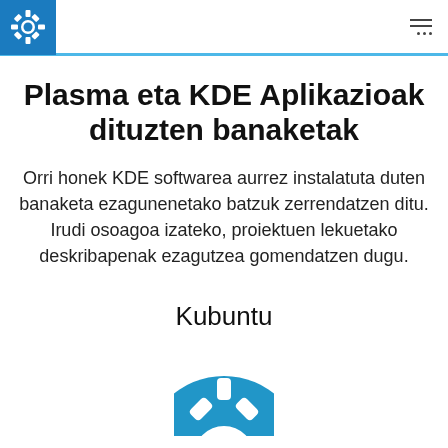KDE navigation bar with logo and menu
Plasma eta KDE Aplikazioak dituzten banaketak
Orri honek KDE softwarea aurrez instalatuta duten banaketa ezagunenetako batzuk zerrendatzen ditu. Irudi osoagoa izateko, proiektuen lekuetako deskribapenak ezagutzea gomendatzen dugu.
Kubuntu
[Figure (logo): Kubuntu logo: blue circle with white gear/cog symbol]